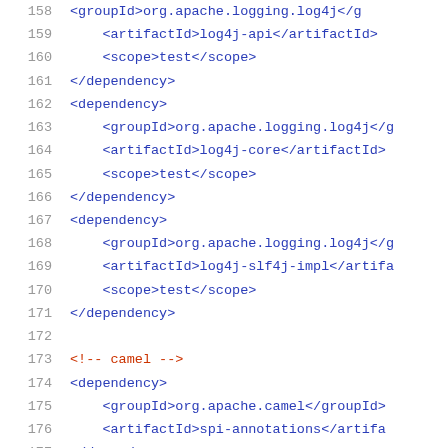158   <groupId>org.apache.logging.log4j</groupId>
159       <artifactId>log4j-api</artifactId>
160       <scope>test</scope>
161   </dependency>
162   <dependency>
163       <groupId>org.apache.logging.log4j</groupId>
164       <artifactId>log4j-core</artifactId>
165       <scope>test</scope>
166   </dependency>
167   <dependency>
168       <groupId>org.apache.logging.log4j</groupId>
169       <artifactId>log4j-slf4j-impl</artifactId>
170       <scope>test</scope>
171   </dependency>
172
173   <!-- camel -->
174   <dependency>
175       <groupId>org.apache.camel</groupId>
176       <artifactId>spi-annotations</artifactId>
177   </dependency>
178
179   <!-- dependencies -->